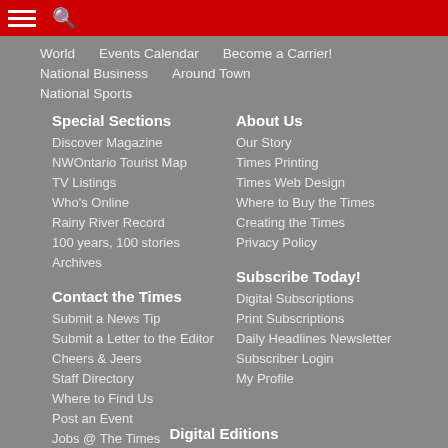World
Events Calendar
Become a Carrier!
National Business
Around Town
National Sports
Special Sections
Discover Magazine
NWOntario Tourist Map
TV Listings
Who's Online
Rainy River Record
100 years, 100 stories
Archives
About Us
Our Story
Times Printing
Times Web Design
Where to Buy the Times
Creating the Times
Privacy Policy
Contact the Times
Submit a News Tip
Submit a Letter to the Editor
Cheers & Jeers
Staff Directory
Where to Find Us
Post an Event
Jobs @ The Times
Subscribe Today!
Digital Subscriptions
Print Subscriptions
Daily Headlines Newsletter
Subscriber Login
My Profile
Digital Editions